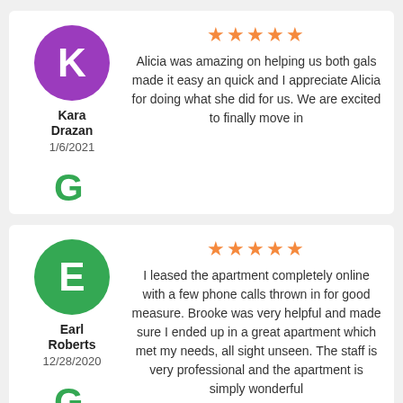★★★★★
Alicia was amazing on helping us both gals made it easy an quick and I appreciate Alicia for doing what she did for us. We are excited to finally move in
Kara Drazan
1/6/2021
[Figure (logo): Google G logo in green]
★★★★★
I leased the apartment completely online with a few phone calls thrown in for good measure. Brooke was very helpful and made sure I ended up in a great apartment which met my needs, all sight unseen. The staff is very professional and the apartment is simply wonderful
Earl Roberts
12/28/2020